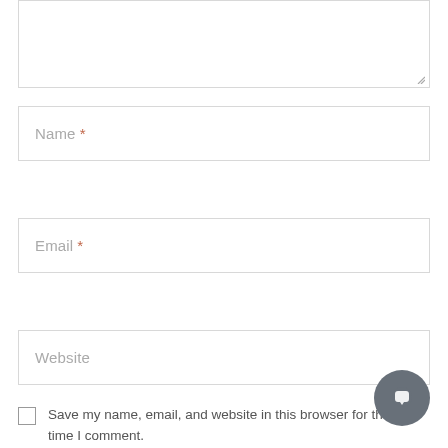[Figure (screenshot): Textarea input box (top portion visible, with resize handle at bottom-right corner)]
Name *
Email *
Website
Save my name, email, and website in this browser for the next time I comment.
[Figure (other): Gray circular chat/comment bubble button in the bottom-right corner]